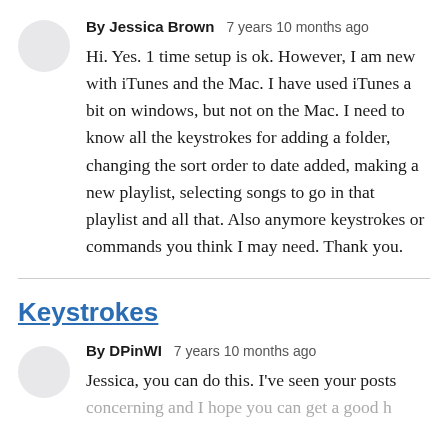By Jessica Brown  7 years 10 months ago
Hi. Yes. 1 time setup is ok. However, I am new with iTunes and the Mac. I have used iTunes a bit on windows, but not on the Mac. I need to know all the keystrokes for adding a folder, changing the sort order to date added, making a new playlist, selecting songs to go in that playlist and all that. Also anymore keystrokes or commands you think I may need. Thank you.
Keystrokes
By DPinWI  7 years 10 months ago
Jessica, you can do this. I've seen your posts concerning and I hope you can get a good h...